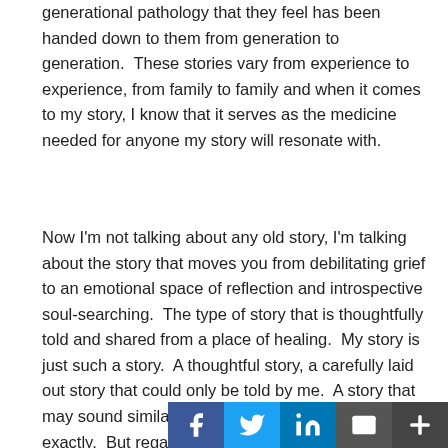generational pathology that they feel has been handed down to them from generation to generation.  These stories vary from experience to experience, from family to family and when it comes to my story, I know that it serves as the medicine needed for anyone my story will resonate with.
Now I'm not talking about any old story, I'm talking about the story that moves you from debilitating grief to an emotional space of reflection and introspective soul-searching.  The type of story that is thoughtfully told and shared from a place of healing.  My story is just such a story.  A thoughtful story, a carefully laid out story that could only be told by me.  A story that may sound similar to the one you know, but not exactly.  But regardless of how you receive my story, I pray that it will bless you so that you may be a blessing to another.  My transformational story is about a deeply felt loss,  overwhelming grief, and the hanger to